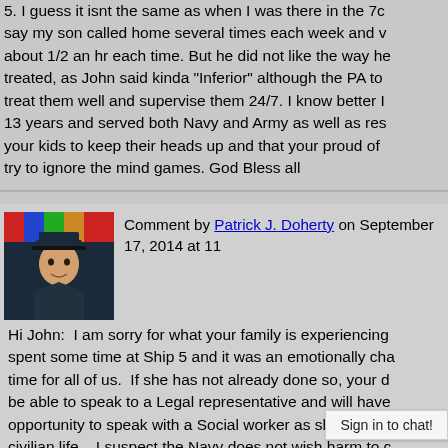5. I guess it isnt the same as when I was there in the 70s say my son called home several times each week and about 1/2 an hr each time. But he did not like the way he treated, as John said kinda "Inferior" although the PA told treat them well and supervise them 24/7. I know better 13 years and served both Navy and Army as well as res your kids to keep their heads up and that your proud of try to ignore the mind games. God Bless all
Comment by Patrick J. Doherty on September 17, 2014 at 11 Hi John: I am sorry for what your family is experiencing. spent some time at Ship 5 and it was an emotionally cha time for all of us. If she has not already done so, your d be able to speak to a Legal representative and will have opportunity to speak with a Social worker as she transiti civilian life. I suspect the Navy does not wish harm to of our sons/daughters in addition to being on a military p activities are restricted. I had an occasion to speak to representatives at Legal - they were professional, inform honest. When our son met with Legal, each time he wa a phone call. I was able to s
Sign in to chat!